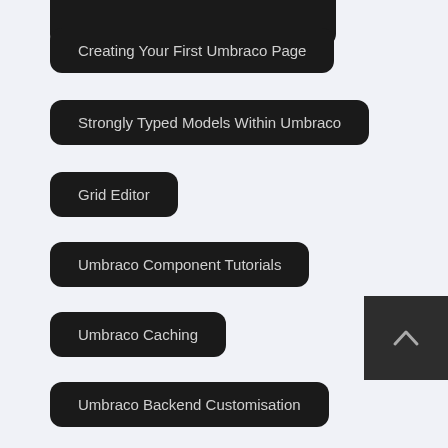(partial top item)
Creating Your First Umbraco Page
Strongly Typed Models Within Umbraco
Grid Editor
Umbraco Component Tutorials
Umbraco Caching
Umbraco Backend Customisation
Umbraco Deployment
Umbraco Event Handling
Umbraco Hosting